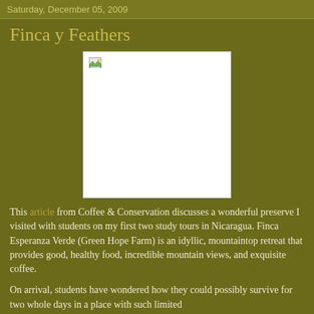Saturday, December 05, 2009
Finca y Feathers
[Figure (photo): Broken/missing image placeholder (white box with broken image icon in top-left corner)]
This article from Coffee & Conservation discusses a wonderful preserve I visited with students on my first two study tours in Nicaragua. Finca Esperanza Verde (Green Hope Farm) is an idyllic, mountaintop retreat that provides good, healthy food, incredible mountain views, and exquisite coffee.
On arrival, students have wondered how they could possibly survive for two whole days in a place with such limited